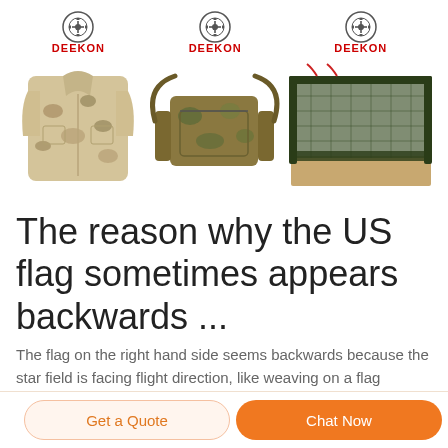[Figure (photo): Three product images with DEEKON brand logos: a desert camouflage jacket (left), a camouflage tactical bag (center), and a military mosquito net tent (right)]
The reason why the US flag sometimes appears backwards ...
The flag on the right hand side seems backwards because the star field is facing flight direction, like weaving on a flag
Get a Quote
Chat Now